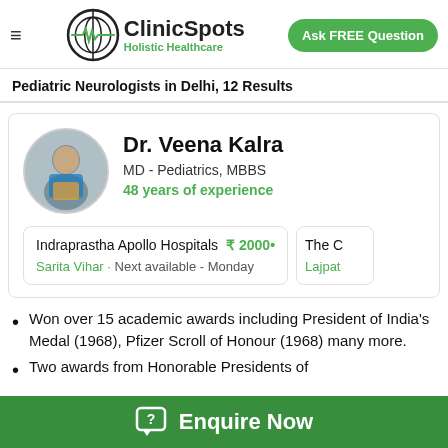ClinicSpots – Holistic Healthcare | Ask FREE Question
Pediatric Neurologists in Delhi, 12 Results
Dr. Veena Kalra
MD - Pediatrics, MBBS
48 years of experience
| Hospital | Fee | Location | Availability |
| --- | --- | --- | --- |
| Indraprastha Apollo Hospitals | ₹ 2000 | Sarita Vihar | Next available - Monday |
| The C[ontinued] |  | Lajpat[continued] |  |
Won over 15 academic awards including President of India's Medal (1968), Pfizer Scroll of Honour (1968) many more.
Two awards from Honorable Presidents of
Enquire Now